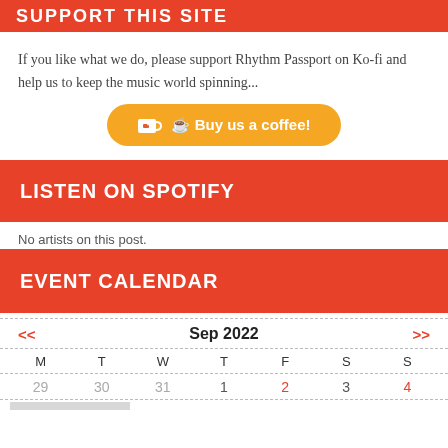SUPPORT THIS SITE
If you like what we do, please support Rhythm Passport on Ko-fi and help us to keep the music world spinning...
[Figure (other): Ko-fi button: Buy us a coffee!]
LISTEN ON SPOTIFY
No artists on this post.
EVENT CALENDAR
| M | T | W | T | F | S | S |
| --- | --- | --- | --- | --- | --- | --- |
| 29 | 30 | 31 | 1 | 2 | 3 | 4 |